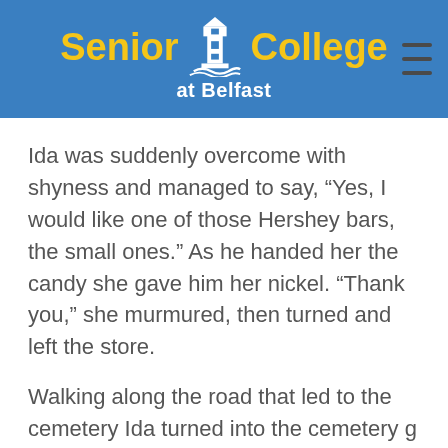Senior College at Belfast
Ida was suddenly overcome with shyness and managed to say, “Yes, I would like one of those Hershey bars, the small ones.” As he handed her the candy she gave him her nickel. “Thank you,” she murmured, then turned and left the store.
Walking along the road that led to the cemetery Ida turned into the cemetery g and realized she had been walking uphill